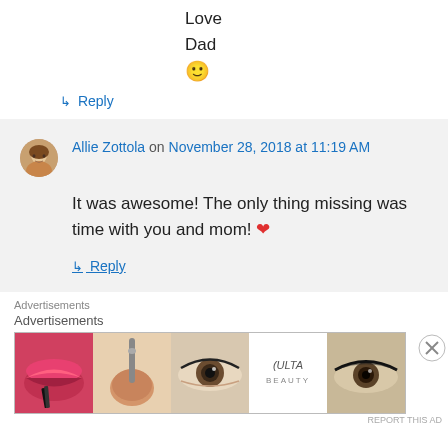Love
Dad
🙂
↳ Reply
Allie Zottola on November 28, 2018 at 11:19 AM
It was awesome! The only thing missing was time with you and mom! ❤
↳ Reply
Advertisements
Advertisements
[Figure (photo): Ulta Beauty advertisement banner with makeup imagery and 'SHOP NOW' text]